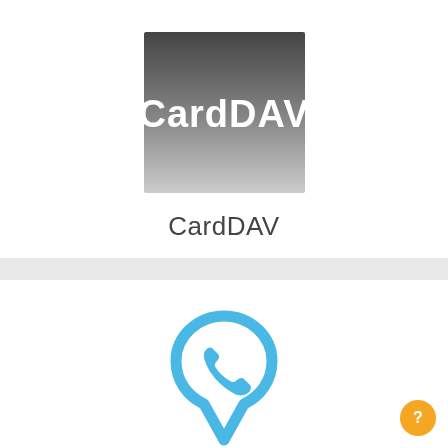[Figure (logo): CardDAV app icon — a square image with a dark gray to light gray gradient background and the word 'CardDAV' in bold white text centered on it]
CardDAV
[Figure (illustration): A blue speech-bubble / location-pin icon containing a telephone handset symbol, representing a contacts or calling app]
[Figure (other): Orange circular help button with a question mark icon in the bottom-right corner]